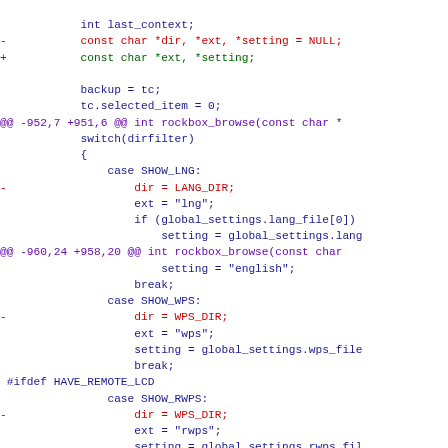[Figure (other): A unified diff / code patch showing changes to a C source file, with removed lines in red, added lines in green, hunk headers in purple, and context lines in dark blue.]